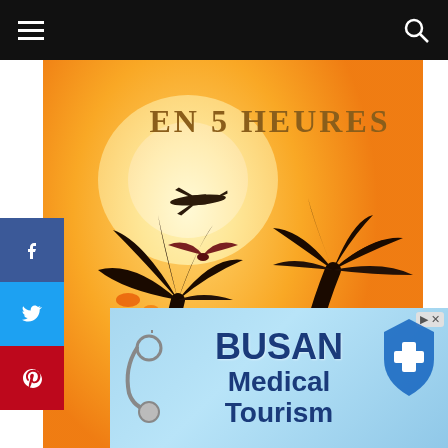Navigation bar with hamburger menu and search icon
[Figure (illustration): Vintage Air France travel poster with yellow/orange background showing palm trees silhouette, a bird in flight, and an airplane. Text reads 'EN 5 HEURES' at top and 'AIR FRANCE' at bottom.]
[Figure (infographic): BUSAN Medical Tourism advertisement banner with blue gradient background, stethoscope on left, medical shield icon on right, text reads 'BUSAN Medical Tourism']